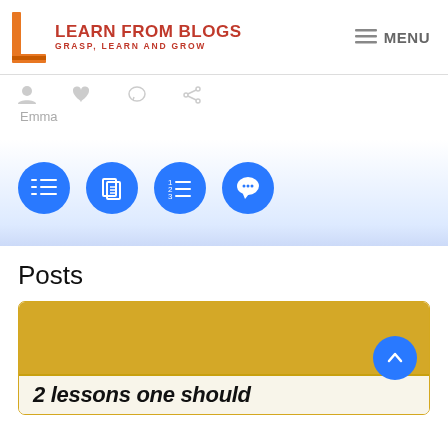[Figure (logo): Learn From Blogs logo with orange L icon and red text 'LEARN FROM BLOGS' and subtitle 'GRASP, LEARN AND GROW']
MENU
Emma
[Figure (infographic): Four blue circle icon buttons: list view, document, numbered list, chat/comment]
Posts
[Figure (photo): Gold/yellow banner image, partially visible post card with title '2 lessons one should']